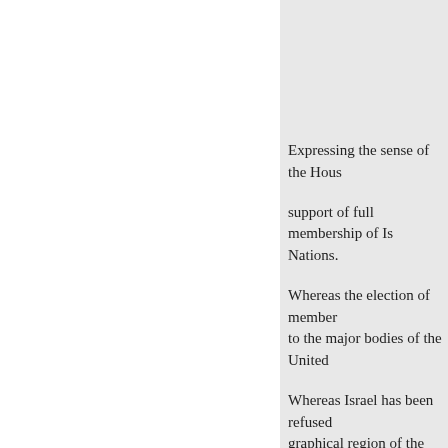Expressing the sense of the House of Representatives in support of full membership of Israel in the United Nations. Whereas the election of members from each regional group to the major bodies of the United Nations; Whereas Israel has been refused membership in any geographical region of the United Nations and without its appropriate geographical region in the United Nations, is precluded from voting except the General Assembly, and the United Nations; Whereas according to current United Nations rules, the Bureau of every United Nations body